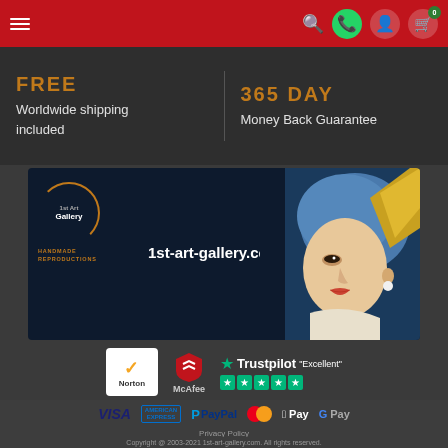Navigation header with hamburger menu, search, WhatsApp, account, and cart icons
FREE Worldwide shipping included
365 DAY Money Back Guarantee
[Figure (logo): 1st Art Gallery banner with logo and Girl with a Pearl Earring painting, text: 1st-art-gallery.com, HANDMADE REPRODUCTIONS]
[Figure (logo): Norton security badge]
[Figure (logo): McAfee security badge]
[Figure (logo): Trustpilot Excellent 5-star rating]
[Figure (logo): Payment methods: VISA, American Express, PayPal, Mastercard, Apple Pay, G Pay]
Privacy Policy
Copyright @ 2003-2021 1st-art-gallery.com. All rights reserved.